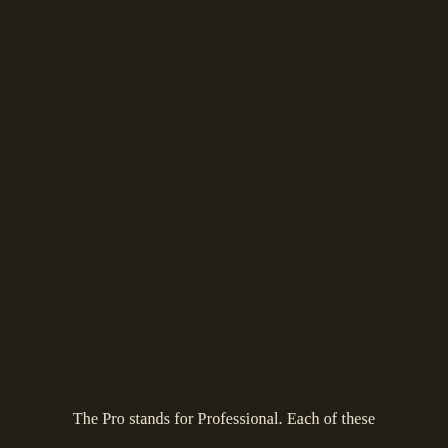[Figure (photo): Dark brown/near-black background image, nearly uniform dark tone filling the entire page]
The Pro stands for Professional. Each of these